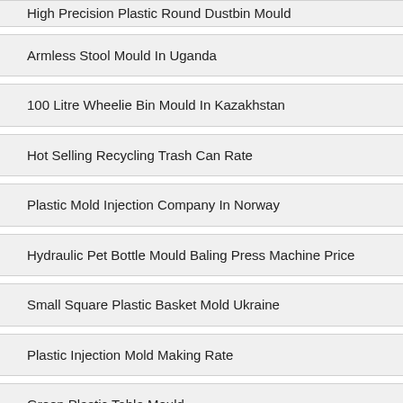High Precision Plastic Round Dustbin Mould
Armless Stool Mould In Uganda
100 Litre Wheelie Bin Mould In Kazakhstan
Hot Selling Recycling Trash Can Rate
Plastic Mold Injection Company In Norway
Hydraulic Pet Bottle Mould Baling Press Machine Price
Small Square Plastic Basket Mold Ukraine
Plastic Injection Mold Making Rate
Green Plastic Table Mould
Bespoke Pet Drink Bottle Mold Retailer